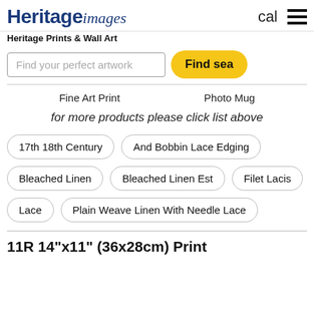Heritage images | cal | menu
Heritage Prints & Wall Art
Find your perfect artwork | Find Search
Fine Art Print   Photo Mug
for more products please click list above
17th 18th Century
And Bobbin Lace Edging
Bleached Linen
Bleached Linen Est
Filet Lacis
Lace
Plain Weave Linen With Needle Lace
11R 14"x11" (36x28cm) Print